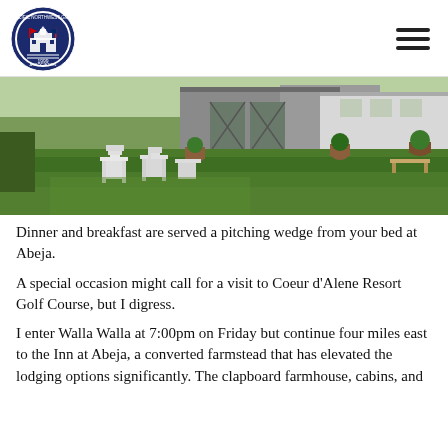[Figure (logo): Pacific Northwest Golf Association circular logo with flags and building illustration, established 1999]
[Figure (photo): Outdoor lawn area with white Adirondack chairs in front of a gray farmhouse/barn building with potted plants and greenery]
Dinner and breakfast are served a pitching wedge from your bed at Abeja.
A special occasion might call for a visit to Coeur d'Alene Resort Golf Course, but I digress.
I enter Walla Walla at 7:00pm on Friday but continue four miles east to the Inn at Abeja, a converted farmstead that has elevated the lodging options significantly. The clapboard farmhouse, cabins, and